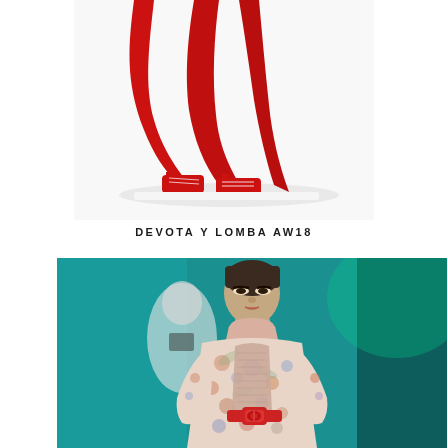[Figure (photo): Close-up of the bottom of a red flowing dress or wide-leg trousers with red lace-up shoes on a white runway surface.]
DEVOTA Y LOMBA AW18
[Figure (photo): Fashion runway photo of a model with slicked-back hair wearing a floral pink/multicolor patterned coat with a pink turtleneck and red belt buckle, against a teal/green background with another model blurred in background.]